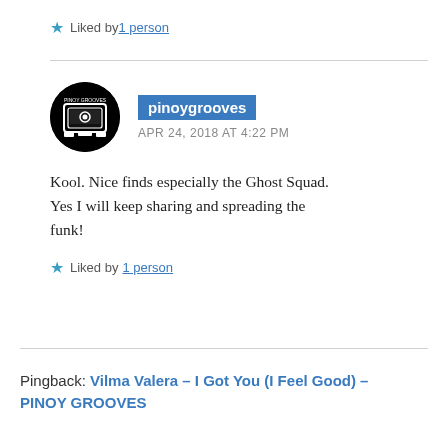★ Liked by 1 person
pinoygrooves
APR 24, 2018 AT 4:22 PM
Kool. Nice finds especially the Ghost Squad. Yes I will keep sharing and spreading the funk!
★ Liked by 1 person
Pingback: Vilma Valera – I Got You (I Feel Good) – PINOY GROOVES